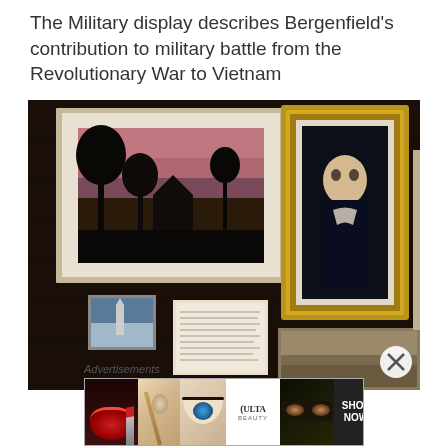The Military display describes Bergenfield's contribution to military battle from the Revolutionary War to Vietnam
[Figure (photo): Interior photograph of a military museum display showing framed artwork and photographs hung on dark wood-paneled walls. Visible items include a landscape painting with trees and pink sunset sky, a formal portrait in an ornate gold frame showing a figure in dark military attire, a small photo of what appears to be a monument or obelisk, a text panel, and a partial view of another framed piece at bottom showing a battlefield or landscape scene.]
Advertisements
[Figure (photo): Advertisement banner for ULTA beauty, showing close-up images of lips with lipstick, a makeup brush, an eye with dramatic makeup, the ULTA Beauty logo in the center, another close-up of eyes with makeup, and a 'SHOP NOW' call to action button on the right.]